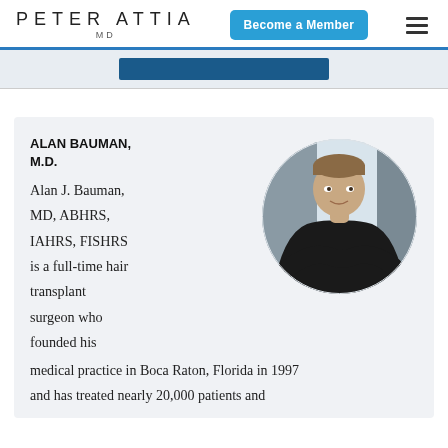PETER ATTIA MD
Become a Member
[Figure (photo): Circular portrait photo of Dr. Alan Bauman wearing black medical scrubs, smiling, with arms crossed, against a light background]
ALAN BAUMAN, M.D.
Alan J. Bauman, MD, ABHRS, IAHRS, FISHRS is a full-time hair transplant surgeon who founded his medical practice in Boca Raton, Florida in 1997 and has treated nearly 20,000 patients and